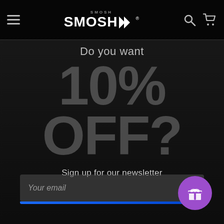[Figure (screenshot): Smosh merchandise website screenshot showing a newsletter signup popup with 10% off offer on dark background]
SMOSH
Do you want 10% OFF?
Sign up for our newsletter
Your email